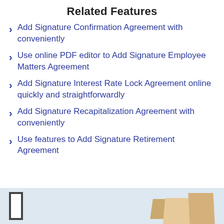Related Features
Add Signature Confirmation Agreement with conveniently
Use online PDF editor to Add Signature Employee Matters Agreement
Add Signature Interest Rate Lock Agreement online quickly and straightforwardly
Add Signature Recapitalization Agreement with conveniently
Use features to Add Signature Retirement Agreement
[Figure (photo): Bottom strip showing a partial image with a dark-bordered frame on the left and envelope/folder shaped tan/brown objects on the right against a light blue-gray background.]